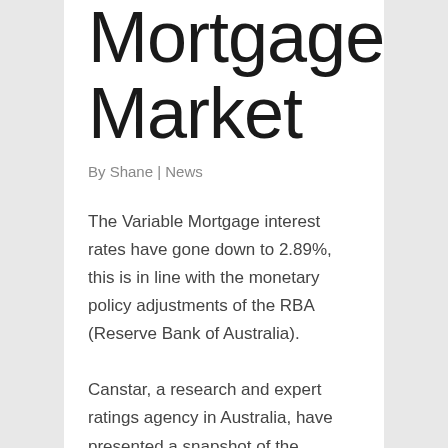Mortgage Market
By Shane | News
The Variable Mortgage interest rates have gone down to 2.89%, this is in line with the monetary policy adjustments of the RBA (Reserve Bank of Australia).
Canstar, a research and expert ratings agency in Australia, have presented a snapshot of the mortgage rate environment in compliance with the